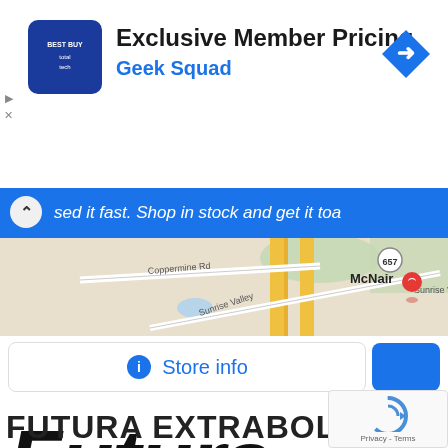[Figure (screenshot): Best Buy TotalTech advertisement banner showing 'Exclusive Member Pricing' and 'Geek Squad' text with blue navigation arrow icon]
[Figure (map): Google Maps screenshot showing area near McNair with roads including Coppermine Rd, Sunrise Valley, route 657, and a red location pin marker]
Store info
[Figure (illustration): Large bold italic text reading 'Futura' in dark/black color, and below it 'FUTURA EXTRABOLD IT' in large uppercase letters, with reCAPTCHA Privacy - Terms badge in bottom right]